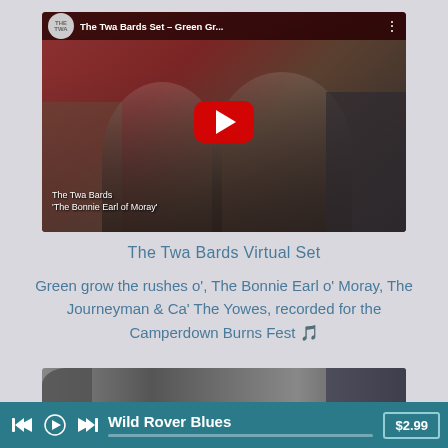[Figure (screenshot): YouTube video thumbnail showing two people (a woman with blonde hair and a man with a grey beard playing guitar) sitting in a room with bookshelves and red walls. YouTube play button overlay. Top bar shows 'The Twa Bards Set - Green Gr...' title. Bottom text reads 'The Twa Bards' and ''The Bonnie Earl of Moray'']
The Twa Bards Virtual Set
Green grow the rushes o', The Bonnie Earl o' Moray, The Journeyman & Ca' The Yowes, recorded for the Camperdown Burns Fest 🎵
[Figure (screenshot): Partial thumbnail strip of another video at the bottom]
Wild Rover Blues   $2.99